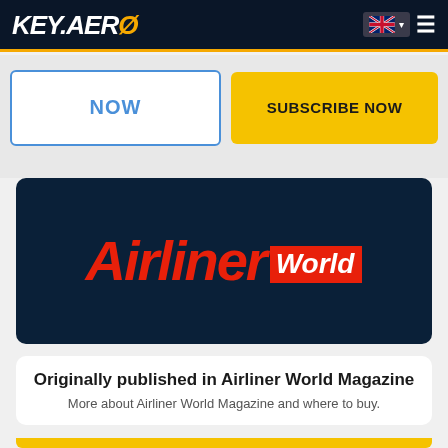KEY.AERO
NOW
SUBSCRIBE NOW
[Figure (logo): Airliner World magazine logo — red italic 'Airliner' text with white 'World' on red background, on dark navy card]
Originally published in Airliner World Magazine
More about Airliner World Magazine and where to buy.